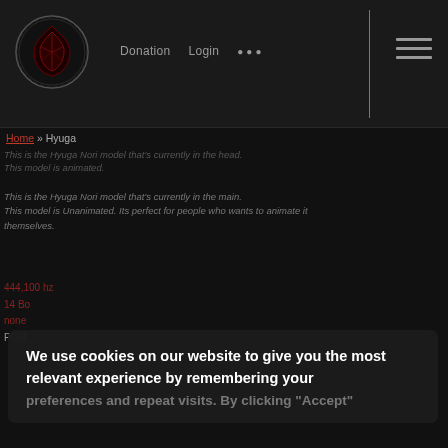[Figure (logo): Circular logo with red cloud/leaf design on dark background]
Donation  Login  ···  ≡
Home » Hyuga
This is the Hyuga Nori model that's currently in the head. This model is animated.
This is the Hyuga Nori model that's currently in the main. This model is Unanimated. Its perfect for people who wants to animate it themselves.
We use cookies on our website to give you the most relevant experience by remembering your preferences and repeat visits. By clicking "Accept"
444,100 hz
14 Bo
none
PCM
Credits:
Nara - Shiqinader, Ulidang, Niga, Binoina
Audio cutting: TinoP.
Audio cutting: TinoP.
Neji Hyuga was a member of Konohagakure's Hyuga Clan. Though a prodigy even by the Hyuga's standards, Neji was a member of the clan's branch house, so rather than being free, he would spend his life in service to the main house.